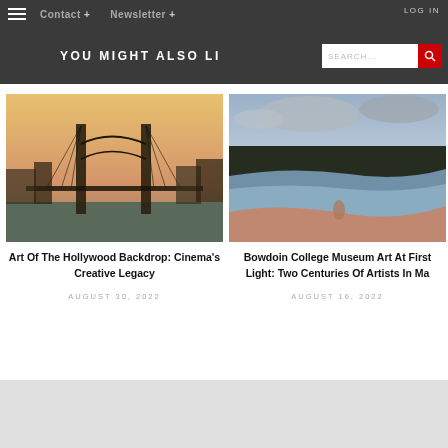LOG IN  Contact +  Newsletter +  YOU MIGHT ALSO LI...  SEARCH...
YOU MIGHT ALSO LI...
[Figure (photo): Brooklyn Bridge photograph with warm golden/orange sky and city skyline]
Art Of The Hollywood Backdrop: Cinema's Creative Legacy
AUGUST 30, 2022
[Figure (photo): Painting of a coastal landscape with dark treeline, water, and human figure, brooding sky with clouds]
Bowdoin College Museum Art At First Light: Two Centuries Of Artists In Ma
AUGUST 16, 2022